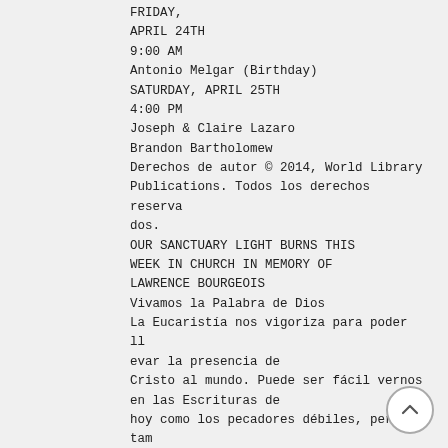FRIDAY,
APRIL 24TH
9:00 AM
Antonio Melgar (Birthday)
SATURDAY, APRIL 25TH
4:00 PM
Joseph & Claire Lazaro
Brandon Bartholomew
Derechos de autor © 2014, World Library Publications. Todos los derechos reservados.
OUR SANCTUARY LIGHT BURNS THIS WEEK IN CHURCH IN MEMORY OF LAWRENCE BOURGEOIS
Vivamos la Palabra de Dios
La Eucaristía nos vigoriza para poder llevar la presencia de Cristo al mundo. Puede ser fácil vernos en las Escrituras de hoy como los pecadores débiles, pero también debemos vernos en los roles de Pedro, Juan y Lucas. En la Eucaristía
Jesús nos alimenta y nos envía a predica